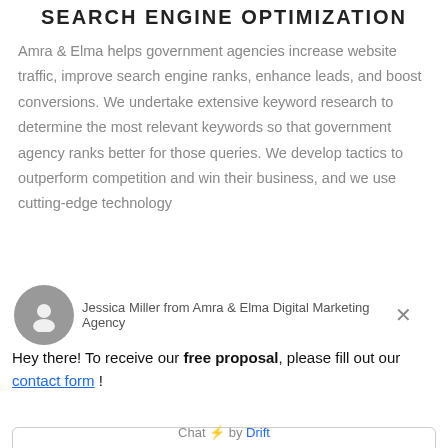SEARCH ENGINE OPTIMIZATION
Amra & Elma helps government agencies increase website traffic, improve search engine ranks, enhance leads, and boost conversions. We undertake extensive keyword research to determine the most relevant keywords so that government agency ranks better for those queries. We develop tactics to outperform competition and win their business, and we use cutting-edge technology
Jessica Miller from Amra & Elma Digital Marketing Agency
Hey there! To receive our free proposal, please fill out our contact form !
Reply to Jessica Miller
Chat ⚡ by Drift